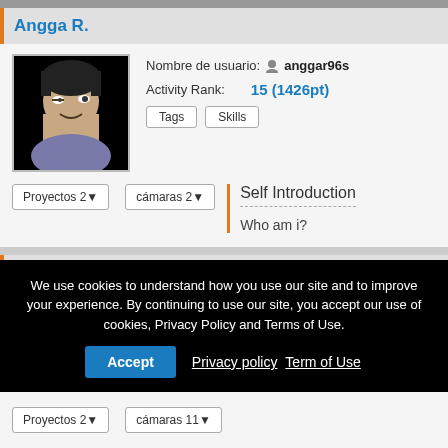Angga R.
Nombre de usuario: anggar96s
Activity Rank: 15 (1426pt)
Tags   Skills
Proyectos 2  cámaras 2
Self Introduction
Who am i?
IWAMOTO Kouichi
We use cookies to understand how you use our site and to improve your experience. By continuing to use our site, you accept our use of cookies, Privacy Policy and Terms of Use.
Accept   Privacy policy  Term of Use
Proyectos 2   cámaras 11